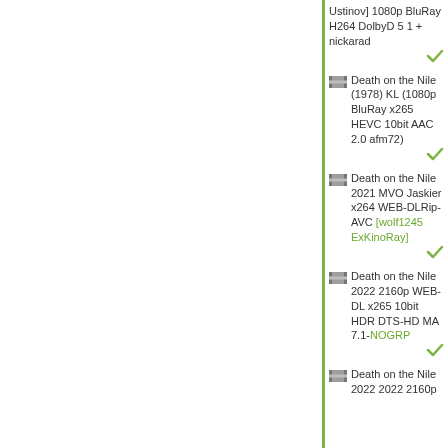Ustinov] 1080p BluRay H264 DolbyD 5 1 + nickarad
Death on the Nile (1978) KL (1080p BluRay x265 HEVC 10bit AAC 2.0 afm72)
Death on the Nile 2021 MVO Jaskier x264 WEB-DLRip-AVC [wolf1245 ExKinoRay]
Death on the Nile 2022 2160p WEB-DL x265 10bit HDR DTS-HD MA 7.1-NOGRP
Death on the Nile 2022 2022 2160p